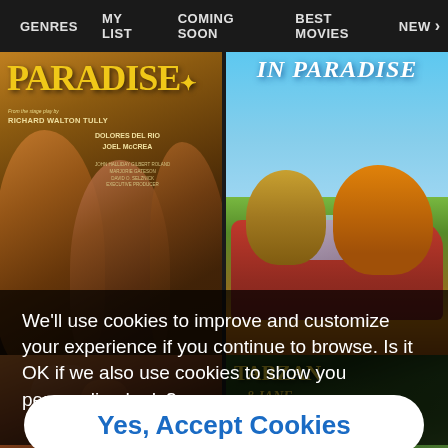GENRES   MY LIST   COMING SOON   BEST MOVIES   NEW>
[Figure (screenshot): Movie poster for 'Paradise' featuring stylized golden/brown illustration of a man and woman, with credits to Richard Walton Tully, Dolores Del Rio, Joel McCrea]
[Figure (screenshot): Animated cartoon poster showing Garfield and Odie in a red convertible car in a tropical paradise setting, with title text at top]
We'll use cookies to improve and customize your experience if you continue to browse. Is it OK if we also use cookies to show you personalized ads?
Yes, Accept Cookies
[Figure (screenshot): Bottom portion of a movie poster showing figures in a warm-toned adventure scene]
[Figure (screenshot): Movie poster for 'Tarzan & Jane' with jungle green background and golden/yellow title text]